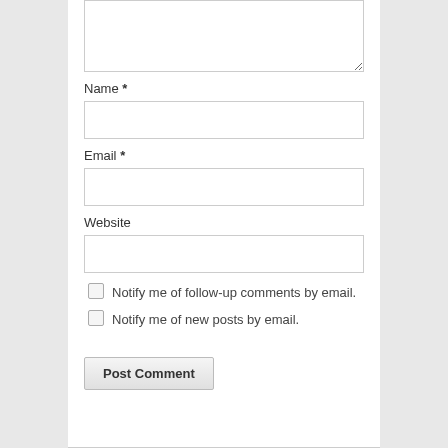[Figure (screenshot): A comment text area (textarea input box) at the top, partially visible, with a resize handle at the bottom-right corner.]
Name *
[Figure (screenshot): A text input field for Name.]
Email *
[Figure (screenshot): A text input field for Email.]
Website
[Figure (screenshot): A text input field for Website.]
Notify me of follow-up comments by email.
Notify me of new posts by email.
Post Comment